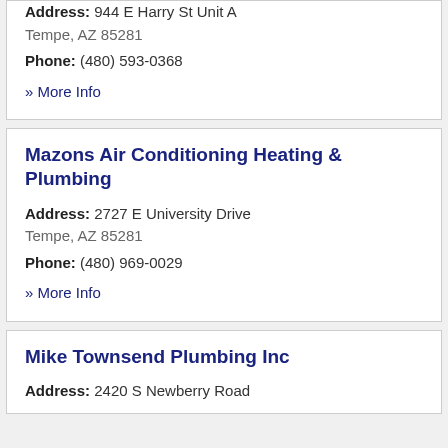Address: 944 E Harry St Unit A Tempe, AZ 85281
Phone: (480) 593-0368
» More Info
Mazons Air Conditioning Heating & Plumbing
Address: 2727 E University Drive Tempe, AZ 85281
Phone: (480) 969-0029
» More Info
Mike Townsend Plumbing Inc
Address: 2420 S Newberry Road